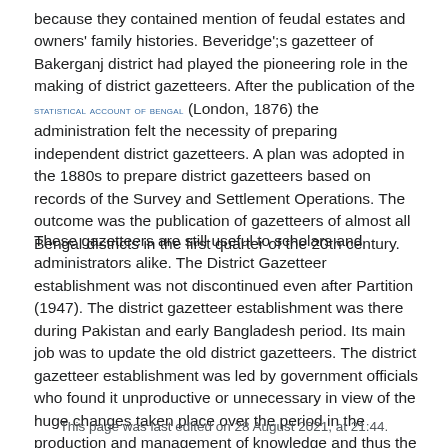because they contained mention of feudal estates and owners' family histories. Beveridge';s gazetteer of Bakerganj district had played the pioneering role in the making of district gazetteers. After the publication of the STATISTICAL ACCOUNT OF BENGAL (London, 1876) the administration felt the necessity of preparing independent district gazetteers. A plan was adopted in the 1880s to prepare district gazetteers based on records of the Survey and Settlement Operations. The outcome was the publication of gazetteers of almost all Bengal districts in the first quarter of the 20th century.
These gazetteers are still useful to scholars and administrators alike. The District Gazetteer establishment was not discontinued even after Partition (1947). The district gazetteer establishment was there during Pakistan and early Bangladesh period. Its main job was to update the old district gazetteers. The district gazetteer establishment was led by government officials who found it unproductive or unnecessary in view of the huge changes taken place over the period in the production and management of knowledge and thus the establishment was abolished in 1947. [Sirajul Islam]
This page was last edited on 28 August 2021, at 21:44.